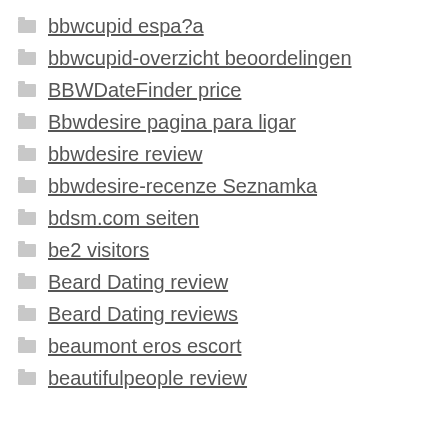bbwcupid espa?a
bbwcupid-overzicht beoordelingen
BBWDateFinder price
Bbwdesire pagina para ligar
bbwdesire review
bbwdesire-recenze Seznamka
bdsm.com seiten
be2 visitors
Beard Dating review
Beard Dating reviews
beaumont eros escort
beautifulpeople review